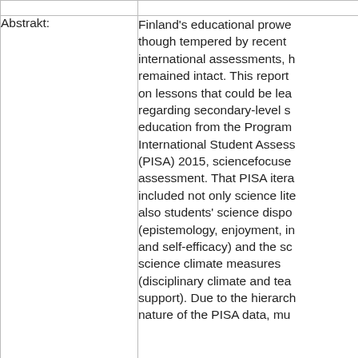|  |  |
| --- | --- |
|  |  |
| Abstrakt: | Finland's educational prowess, though tempered by recent international assessments, has remained intact. This report focuses on lessons that could be learned regarding secondary-level science education from the Programme for International Student Assessment (PISA) 2015, sciencefocused assessment. That PISA literacy included not only science literacy but also students' science dispositions (epistemology, enjoyment, interest, and self-efficacy) and the school science climate measures (disciplinary climate and teacher support). Due to the hierarchical nature of the PISA data, mu |